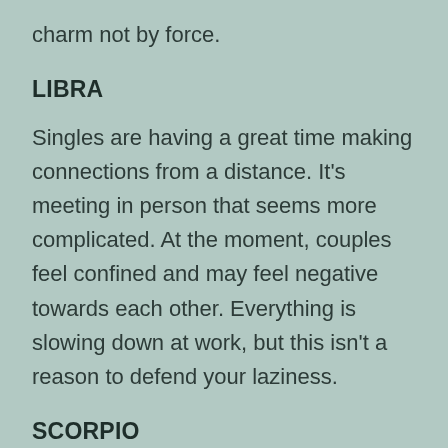charm not by force.
LIBRA
Singles are having a great time making connections from a distance. It's meeting in person that seems more complicated. At the moment, couples feel confined and may feel negative towards each other. Everything is slowing down at work, but this isn't a reason to defend your laziness.
SCORPIO
Singles have been in love for quite some time,